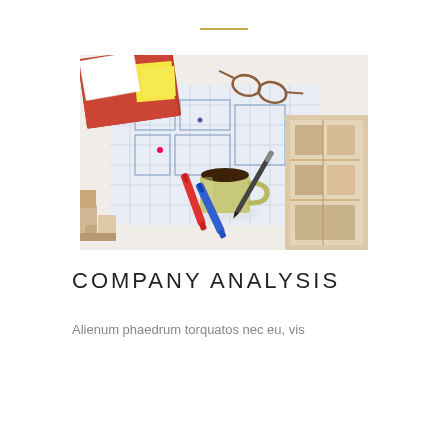[Figure (photo): Overhead view of an architectural/urban planning workspace with blueprints, red and blue markers, a coffee cup, glasses, a pen, architectural scale models made of cardboard, a red folder, and yellow sticky notes on a white table.]
COMPANY ANALYSIS
Alienum phaedrum torquatos nec eu, vis